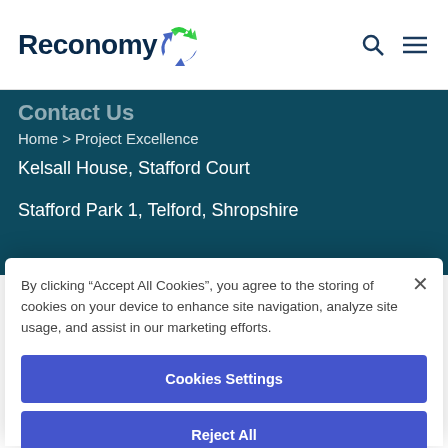[Figure (logo): Reconomy logo with green and blue recycling arrows icon and dark navy bold text]
Contact Us
Home > Project Excellence
Kelsall House, Stafford Court
Stafford Park 1, Telford, Shropshire
By clicking "Accept All Cookies", you agree to the storing of cookies on your device to enhance site navigation, analyze site usage, and assist in our marketing efforts.
Cookies Settings
Reject All
Accept All Cookies